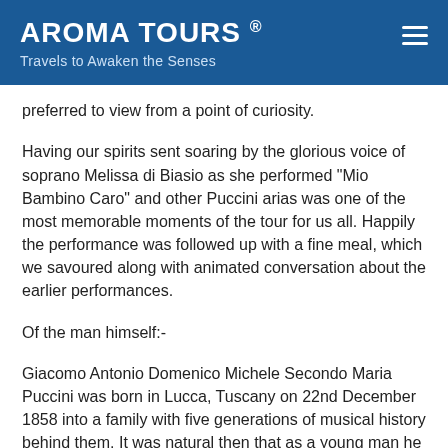AROMA TOURS ® / Travels to Awaken the Senses
preferred to view from a point of curiosity.
Having our spirits sent soaring by the glorious voice of soprano Melissa di Biasio as she performed "Mio Bambino Caro" and other Puccini arias was one of the most memorable moments of the tour for us all. Happily the performance was followed up with a fine meal, which we savoured along with animated conversation about the earlier performances.
Of the man himself:-
Giacomo Antonio Domenico Michele Secondo Maria Puccini was born in Lucca, Tuscany on 22nd December 1858 into a family with five generations of musical history behind them. It was natural then that as a young man he took